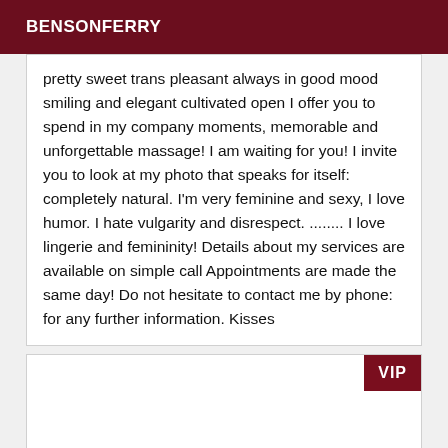BENSONFERRY
pretty sweet trans pleasant always in good mood smiling and elegant cultivated open I offer you to spend in my company moments, memorable and unforgettable massage! I am waiting for you! I invite you to look at my photo that speaks for itself: completely natural. I'm very feminine and sexy, I love humor. I hate vulgarity and disrespect. ........ I love lingerie and femininity! Details about my services are available on simple call Appointments are made the same day! Do not hesitate to contact me by phone: for any further information. Kisses
[Figure (other): White card area with VIP badge in dark red at top right corner]